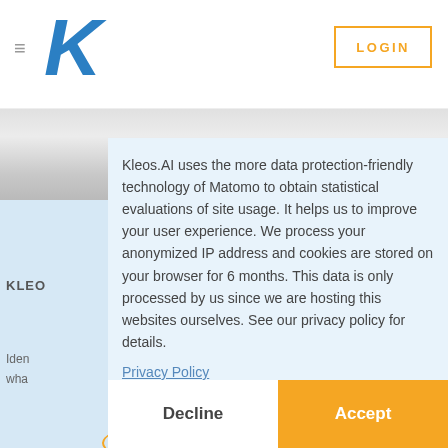[Figure (screenshot): Kleos.AI website screenshot showing navigation bar with hamburger menu, large blue K logo, and LOGIN button in orange border on top right.]
Kleos.AI uses the more data protection-friendly technology of Matomo to obtain statistical evaluations of site usage. It helps us to improve your user experience. We process your anonymized IP address and cookies are stored on your browser for 6 months. This data is only processed by us since we are hosting this websites ourselves. See our privacy policy for details.
Privacy Policy
Decline
Accept